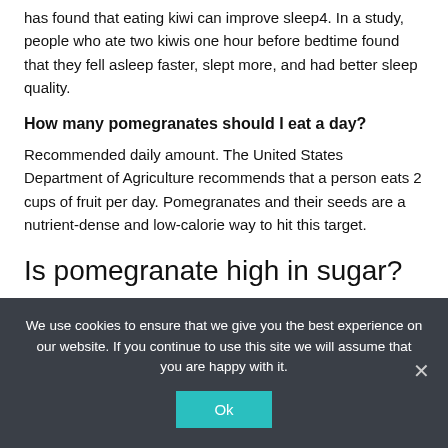has found that eating kiwi can improve sleep4. In a study, people who ate two kiwis one hour before bedtime found that they fell asleep faster, slept more, and had better sleep quality.
How many pomegranates should I eat a day?
Recommended daily amount. The United States Department of Agriculture recommends that a person eats 2 cups of fruit per day. Pomegranates and their seeds are a nutrient-dense and low-calorie way to hit this target.
Is pomegranate high in sugar?
Pomegranates contain 14g of sugar per 100g, but don't let that put you off too much. 100g of pomegranates also contains 7g of fibre,
We use cookies to ensure that we give you the best experience on our website. If you continue to use this site we will assume that you are happy with it.